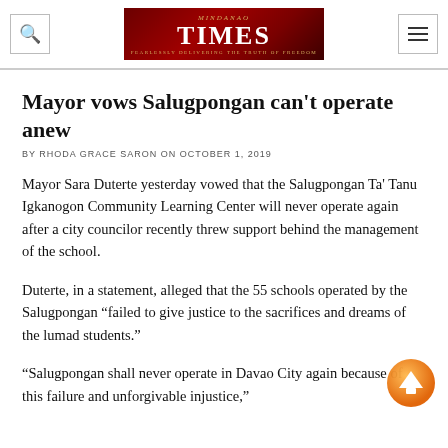Mindanao Times
Mayor vows Salugpongan can't operate anew
BY RHODA GRACE SARON ON OCTOBER 1, 2019
Mayor Sara Duterte yesterday vowed that the Salugpongan Ta' Tanu Igkanogon Community Learning Center will never operate again after a city councilor recently threw support behind the management of the school.
Duterte, in a statement, alleged that the 55 schools operated by the Salugpongan “failed to give justice to the sacrifices and dreams of the lumad students.”
“Salugpongan shall never operate in Davao City again because of this failure and unforgivable injustice,”